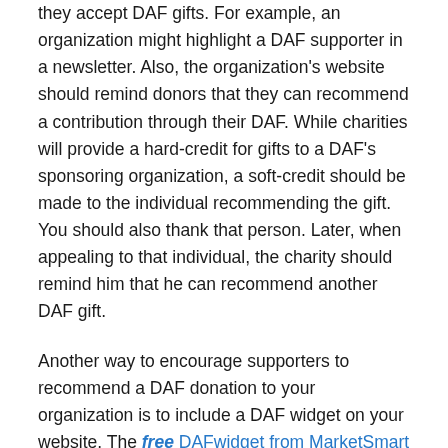they accept DAF gifts. For example, an organization might highlight a DAF supporter in a newsletter. Also, the organization's website should remind donors that they can recommend a contribution through their DAF. While charities will provide a hard-credit for gifts to a DAF's sponsoring organization, a soft-credit should be made to the individual recommending the gift. You should also thank that person. Later, when appealing to that individual, the charity should remind him that he can recommend another DAF gift.
Another way to encourage supporters to recommend a DAF donation to your organization is to include a DAF widget on your website. The free DAFwidget from MarketSmart makes it easy for individuals to support your organization through their DAF. As MarketSmart says:
You already make it easy for supporters to make